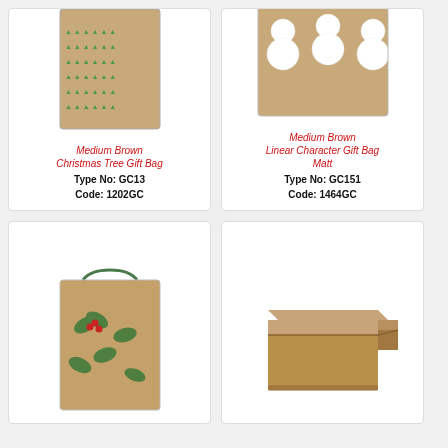[Figure (photo): Medium Brown Christmas Tree Gift Bag with green tree print and black handles]
Medium Brown Christmas Tree Gift Bag
Type No: GC13
Code: 1202GC
[Figure (photo): Medium Brown Linear Character Gift Bag Matt with snowman print and red handles]
Medium Brown Linear Character Gift Bag Matt
Type No: GC151
Code: 1464GC
[Figure (photo): Brown gift bag with holly and berries print pattern]
[Figure (photo): Plain brown rectangular gift box with lid]